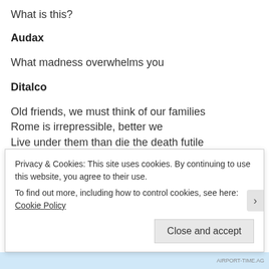What is this?
Audax
What madness overwhelms you
Ditalco
Old friends, we must think of our families
Rome is irrepressible, better we
Live under them than die the death futile
Audax
You really would betray Viriathus
Privacy & Cookies: This site uses cookies. By continuing to use this website, you agree to their use.
To find out more, including how to control cookies, see here: Cookie Policy
Close and accept